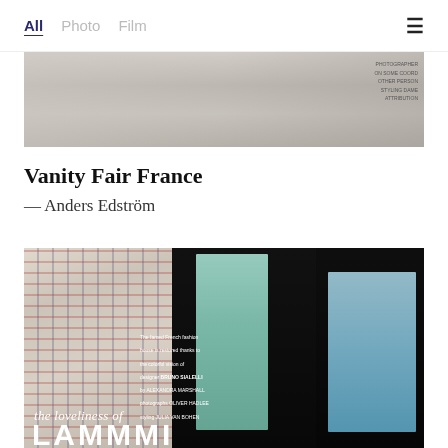All   Photo   Film
[Figure (photo): Top cropped fashion editorial image, black and white tones, with small text overlay on the right side listing credits]
Vanity Fair France
— Anders Edström
[Figure (photo): Fashion editorial photo featuring three models against a dark background. Left model wears a plaid oversized coat, center model wears a mint/sage suit, right model wears a light blue dress. Text overlay reads 'The famed French fashion house is restored thanks to the colorful vision of designer BRUNO SIALELLI by ALEXANDRA MARSHALL photographs OLIVER HADLEE and styling JULIA VAN BOHEN'. Bottom text reads 'the loveliness of' in italic and partial large bold letters below.]